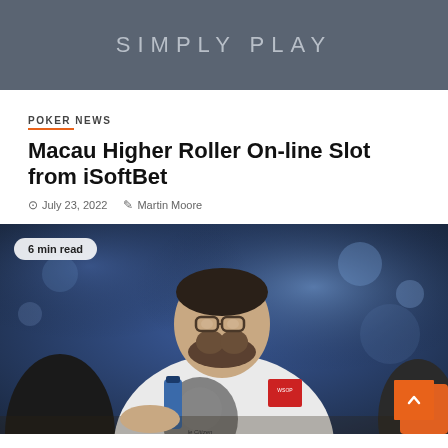[Figure (screenshot): Gray banner with text SIMPLY PLAY in light gray uppercase letters]
POKER NEWS
Macau Higher Roller On-line Slot from iSoftBet
July 23, 2022   Martin Moore
[Figure (photo): A man with glasses and a beard wearing a white t-shirt with a graphic print and a red badge, sitting at a poker table in a blurred blue-lit casino environment. A blue water bottle is visible on the table. Badge on bottom right reads scroll-to-top arrow button in orange.]
POKER NEWS